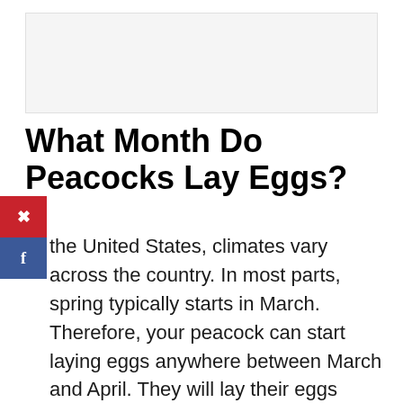[Figure (other): Advertisement placeholder banner, light gray background]
What Month Do Peacocks Lay Eggs?
the United States, climates vary across the country. In most parts, spring typically starts in March. Therefore, your peacock can start laying eggs anywhere between March and April. They will lay their eggs depending on the weather. Once they start laying, you can be sure of finding one egg in their nest every other day.